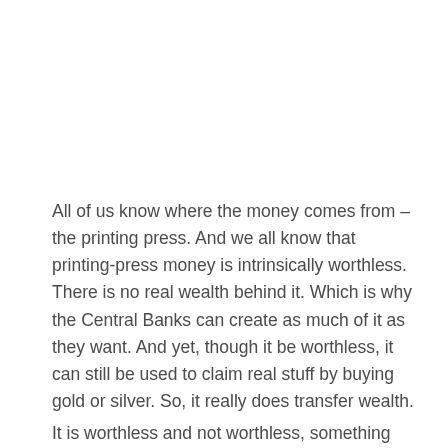All of us know where the money comes from – the printing press. And we all know that printing-press money is intrinsically worthless. There is no real wealth behind it. Which is why the Central Banks can create as much of it as they want. And yet, though it be worthless, it can still be used to claim real stuff by buying gold or silver. So, it really does transfer wealth.
It is worthless and not worthless, something and